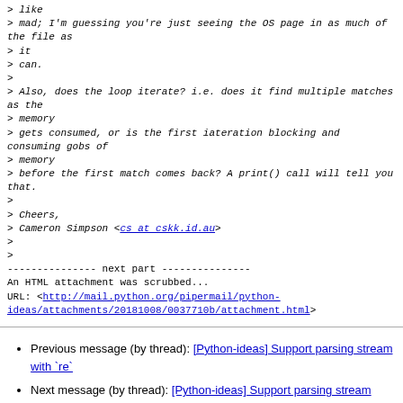> like
> mad; I'm guessing you're just seeing the OS page in as much of the file as
> it
> can.
>
> Also, does the loop iterate? i.e. does it find multiple matches as the
> memory
> gets consumed, or is the first iateration blocking and consuming gobs of
> memory
> before the first match comes back? A print() call will tell you that.
>
> Cheers,
> Cameron Simpson <cs at cskk.id.au>
>
>
--------------- next part ---------------
An HTML attachment was scrubbed...
URL: <http://mail.python.org/pipermail/python-ideas/attachments/20181008/0037710b/attachment.html>
Previous message (by thread): [Python-ideas] Support parsing stream with `re`
Next message (by thread): [Python-ideas] Support parsing stream with `re`